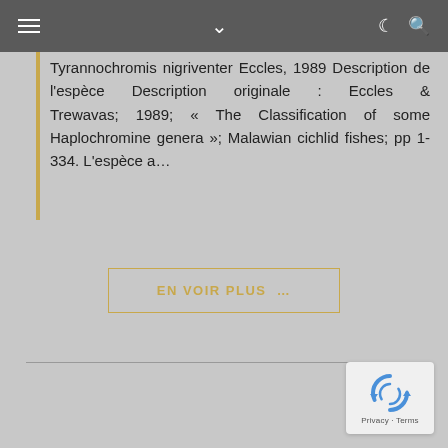≡  ∨  ☾ 🔍
Tyrannochromis nigriventer Eccles, 1989 Description de l'espèce Description originale : Eccles & Trewavas; 1989; « The Classification of some Haplochromine genera »; Malawian cichlid fishes; pp 1-334. L'espèce a...
EN VOIR PLUS ...
[Figure (logo): Google reCAPTCHA widget with spinning arrows icon and Privacy · Terms text]